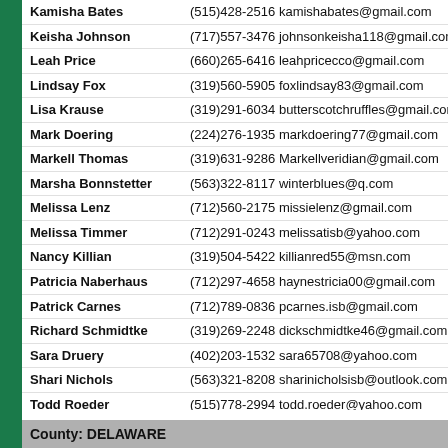Kamisha Bates (515)428-2516 kamishabates@gmail.com
Keisha Johnson (717)557-3476 johnsonkeisha118@gmail.com
Leah Price (660)265-6416 leahpricecco@gmail.com
Lindsay Fox (319)560-5905 foxlindsay83@gmail.com
Lisa Krause (319)291-6034 butterscotchruffles@gmail.com
Mark Doering (224)276-1935 markdoering77@gmail.com
Markell Thomas (319)631-9286 Markellveridian@gmail.com
Marsha Bonnstetter (563)322-8117 winterblues@q.com
Melissa Lenz (712)560-2175 missielenz@gmail.com
Melissa Timmer (712)291-0243 melissatisb@yahoo.com
Nancy Killian (319)504-5422 killianred55@msn.com
Patricia Naberhaus (712)297-4658 haynestricia00@gmail.com
Patrick Carnes (712)789-0836 pcarnes.isb@gmail.com
Richard Schmidtke (319)269-2248 dickschmidtke46@gmail.com
Sara Druery (402)203-1532 sara65708@yahoo.com
Shari Nichols (563)321-8208 sharinicholsisb@outlook.com
Todd Roeder (515)778-2994 todd.roeder@yahoo.com
County: DELAWARE